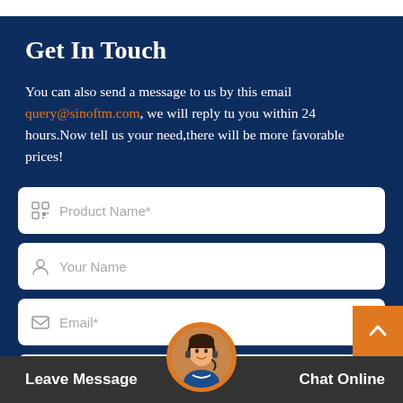Get In Touch
You can also send a message to us by this email query@sinoftm.com, we will reply tu you within 24 hours.Now tell us your need,there will be more favorable prices!
[Figure (screenshot): Contact form with fields: Product Name*, Your Name, Email*, Your Phone or Whats...]
Leave Message   Chat Online